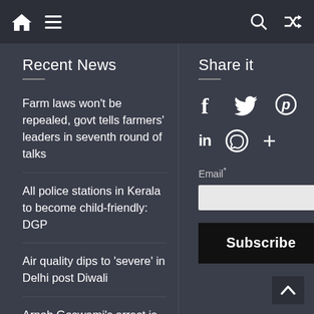Navigation bar with home icon, hamburger menu, search icon, shuffle icon
Recent News
Farm laws won't be repealed, govt tells farmers' leaders in seventh round of talks
All police stations in Kerala to become child-friendly: DGP
Air quality dips to 'severe' in Delhi post Diwali
Arnab Goswami's arrest is troubling
Share it
[Figure (infographic): Social sharing icons: Facebook (f), Twitter (bird), Pinterest (P), LinkedIn (in), WhatsApp (message bubble), More (+)]
Email*
Subscribe